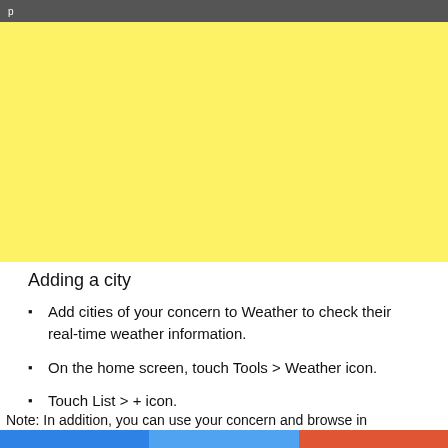[Figure (other): Yellow rectangle placeholder image area]
Adding a city
Add cities of your concern to Weather to check their real-time weather information.
On the home screen, touch Tools > Weather icon.
Touch List > + icon.
Note: In addition, you can use your concern and browse in